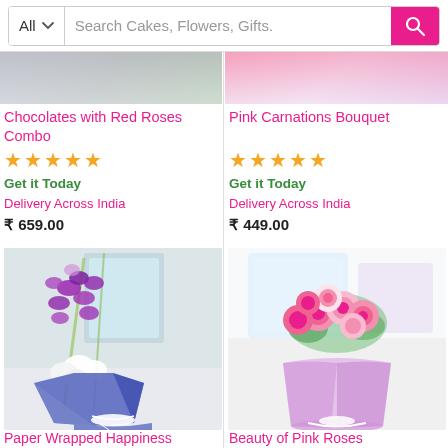All  Search Cakes, Flowers, Gifts.
[Figure (photo): Partial product image top left - chocolates with red roses combo (partially visible at top)]
[Figure (photo): Partial product image top right - pink carnations bouquet (partially visible at top)]
Chocolates with Red Roses Combo
★★★★★
Get it Today
Delivery Across India
₹ 659.00
Pink Carnations Bouquet
★★★★★
Get it Today
Delivery Across India
₹ 449.00
[Figure (photo): Paper Wrapped Happiness - purple/blue paper wrapped flower bouquet with orchids and white flowers]
[Figure (photo): Beauty of Pink Roses - pink roses bouquet in lavender/pink wrapping]
Paper Wrapped Happiness
Beauty of Pink Roses